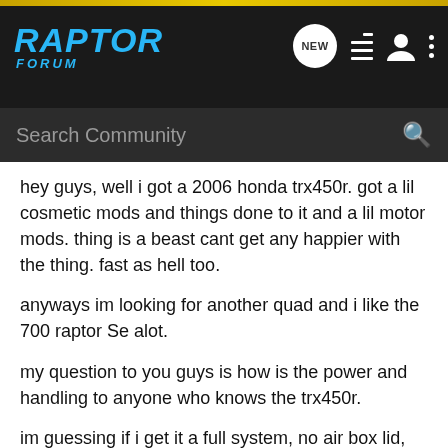RAPTOR FORUM
hey guys, well i got a 2006 honda trx450r. got a lil cosmetic mods and things done to it and a lil motor mods. thing is a beast cant get any happier with the thing. fast as hell too.
anyways im looking for another quad and i like the 700 raptor Se alot.
my question to you guys is how is the power and handling to anyone who knows the trx450r.
im guessing if i get it a full system, no air box lid, and cams. compared to my cammed full system no lid trx? power wise.